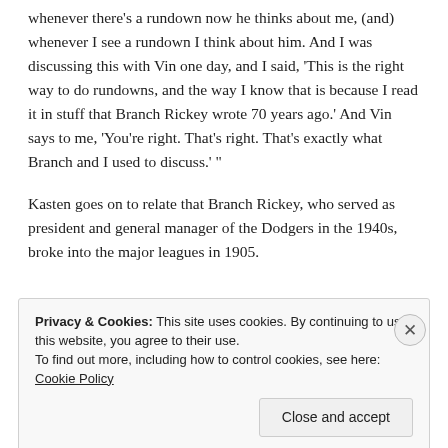whenever there's a rundown now he thinks about me, (and) whenever I see a rundown I think about him. And I was discussing this with Vin one day, and I said, 'This is the right way to do rundowns, and the way I know that is because I read it in stuff that Branch Rickey wrote 70 years ago.' And Vin says to me, 'You're right. That's right. That's exactly what Branch and I used to discuss.' "
Kasten goes on to relate that Branch Rickey, who served as president and general manager of the Dodgers in the 1940s, broke into the major leagues in 1905.
Privacy & Cookies: This site uses cookies. By continuing to use this website, you agree to their use.
To find out more, including how to control cookies, see here: Cookie Policy
Close and accept